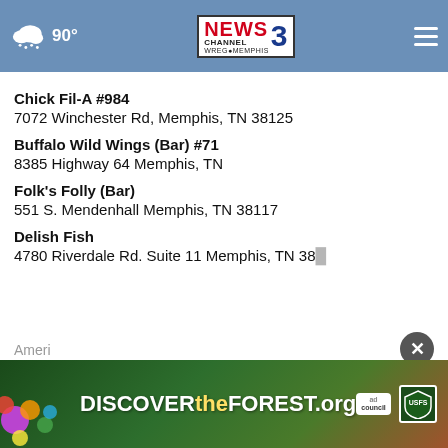NEWS CHANNEL 3 WREG MEMPHIS | 90°
Chick Fil-A #984
7072 Winchester Rd, Memphis, TN 38125
Buffalo Wild Wings (Bar) #71
8385 Highway 64 Memphis, TN
Folk's Folly (Bar)
551 S. Mendenhall Memphis, TN 38117
Delish Fish
4780 Riverdale Rd. Suite 11 Memphis, TN 38…
Ameri
[Figure (screenshot): DISCOVER the FOREST .org advertisement banner with forest imagery, Ad Council and US Forest Service logos]